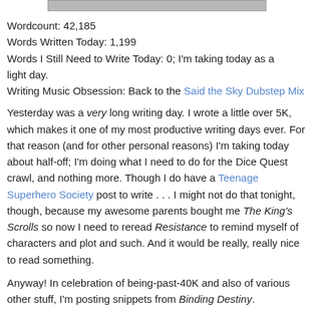[Figure (other): Partial image bar at top of page, shown as a cropped banner/header image]
Wordcount: 42,185
Words Written Today: 1,199
Words I Still Need to Write Today: 0; I'm taking today as a light day.
Writing Music Obsession: Back to the Said the Sky Dubstep Mix
Yesterday was a very long writing day. I wrote a little over 5K, which makes it one of my most productive writing days ever. For that reason (and for other personal reasons) I'm taking today about half-off; I'm doing what I need to do for the Dice Quest crawl, and nothing more. Though I do have a Teenage Superhero Society post to write . . . I might not do that tonight, though, because my awesome parents bought me The King's Scrolls so now I need to reread Resistance to remind myself of characters and plot and such. And it would be really, really nice to read something.
Anyway! In celebration of being-past-40K and also of various other stuff, I'm posting snippets from Binding Destiny.